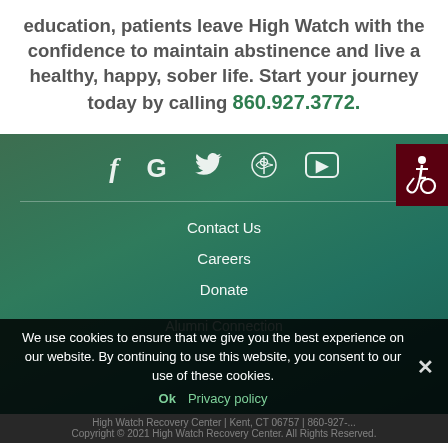education, patients leave High Watch with the confidence to maintain abstinence and live a healthy, happy, sober life. Start your journey today by calling 860.927.3772.
[Figure (infographic): Green gradient footer section with social media icons (Facebook, Google, Twitter, Pinterest, YouTube), navigation links (Contact Us, Careers, Donate, Alumni Connection), accessibility button (wheelchair icon in dark red), cookie consent bar, and copyright notice.]
High Watch Recovery Center | Kent, CT 06757 | 860-927-... Copyright © 2021 High Watch Recovery Center. All Rights Reserved.